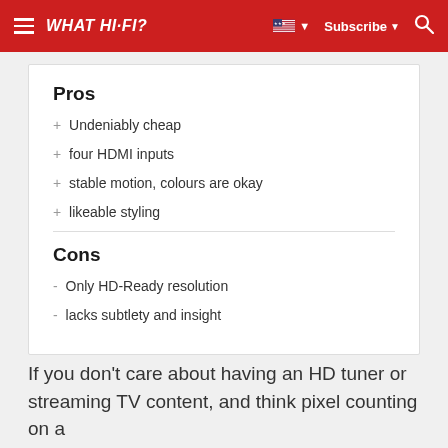WHAT HI-FI?
Pros
+ Undeniably cheap
+ four HDMI inputs
+ stable motion, colours are okay
+ likeable styling
Cons
- Only HD-Ready resolution
- lacks subtlety and insight
If you don't care about having an HD tuner or streaming TV content, and think pixel counting on a